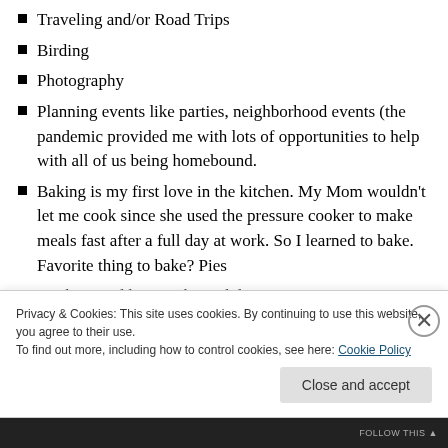Traveling and/or Road Trips
Birding
Photography
Planning events like parties, neighborhood events (the pandemic provided me with lots of opportunities to help with all of us being homebound.
Baking is my first love in the kitchen. My Mom wouldn't let me cook since she used the pressure cooker to make meals fast after a full day at work. So I learned to bake. Favorite thing to bake? Pies
Cooking and having themed dinner parties. Favorite
Privacy & Cookies: This site uses cookies. By continuing to use this website, you agree to their use.
To find out more, including how to control cookies, see here: Cookie Policy
Close and accept